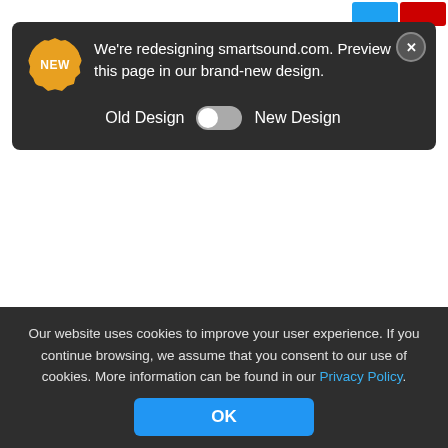We're redesigning smartsound.com. Preview this page in our brand-new design.
Old Design  New Design
Royalty Free Music Album
Massive Dramatic Trailer (10 tracks)
$149
Our website uses cookies to improve your user experience. If you continue browsing, we assume that you consent to our use of cookies. More information can be found in our Privacy Policy.
OK